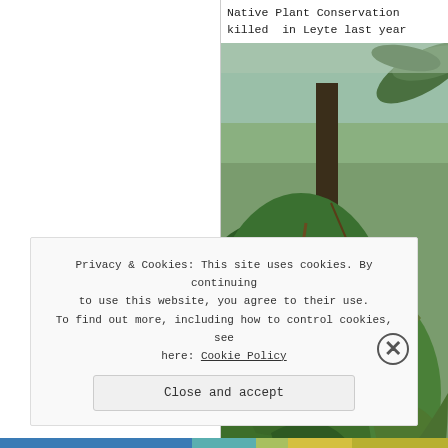Native Plant Conservation killed in Leyte last year
[Figure (photo): Dense tropical foliage with broad-leafed shrubs and palm-like trees in a Philippine forest setting; watermark visible in center]
Philippine Native Plant C exhibi
Privacy & Cookies: This site uses cookies. By continuing to use this website, you agree to their use.
To find out more, including how to control cookies, see here: Cookie Policy
Close and accept